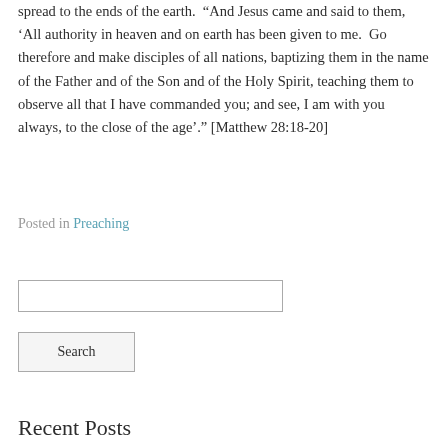spread to the ends of the earth.  “And Jesus came and said to them, ‘All authority in heaven and on earth has been given to me.  Go therefore and make disciples of all nations, baptizing them in the name of the Father and of the Son and of the Holy Spirit, teaching them to observe all that I have commanded you; and see, I am with you always, to the close of the age’.” [Matthew 28:18-20]
Posted in Preaching
Recent Posts